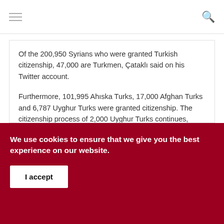≡  🔍
Of the 200,950 Syrians who were granted Turkish citizenship, 47,000 are Turkmen, Çataklı said on his Twitter account.
Furthermore, 101,995 Ahıska Turks, 17,000 Afghan Turks and 6,787 Uyghur Turks were granted citizenship. The citizenship process of 2,000 Uyghur Turks continues, Çataklı said.
SOURCE: Hurriyet
We use cookies to ensure that we give you the best experience on our website.
I accept